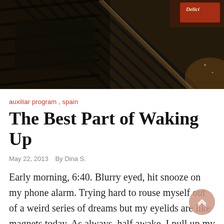[Figure (photo): Dark overhead photo of a grill or barbecue with metal grates and charcoal, with a reddish package visible in the corner]
auxiliar program , spain
The Best Part of Waking Up
May 22, 2013   By Dina S.
Early morning, 6:40. Blurry eyed, hit snooze on my phone alarm. Trying hard to rouse myself out of a weird series of dreams but my eyelids are like magnets today. As always, half awake, I pull up my email just to see what I got overnight, which is usually not much. 9 new messages,